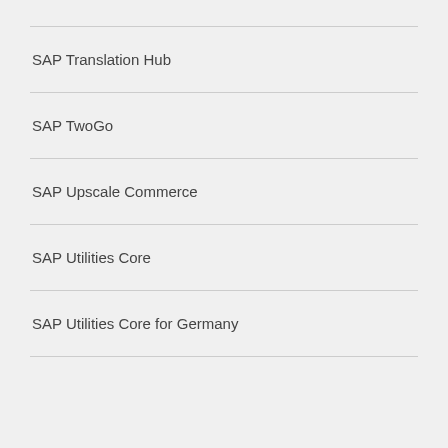SAP Translation Hub
SAP TwoGo
SAP Upscale Commerce
SAP Utilities Core
SAP Utilities Core for Germany